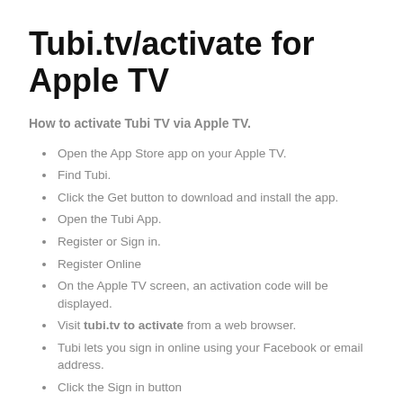Tubi.tv/activate for Apple TV
How to activate Tubi TV via Apple TV.
Open the App Store app on your Apple TV.
Find Tubi.
Click the Get button to download and install the app.
Open the Tubi App.
Register or Sign in.
Register Online
On the Apple TV screen, an activation code will be displayed.
Visit tubi.tv to activate from a web browser.
Tubi lets you sign in online using your Facebook or email address.
Click the Sign in button
Enter the activation code shown on your Apple TV screen.
Click "Submit"